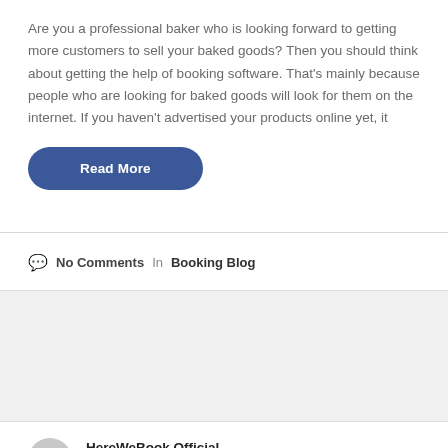Are you a professional baker who is looking forward to getting more customers to sell your baked goods? Then you should think about getting the help of booking software. That’s mainly because people who are looking for baked goods will look for them on the internet. If you haven’t advertised your products online yet, it
Read More
No Comments  In  Booking Blog
HereWeBook Official
Jan 31, 2020